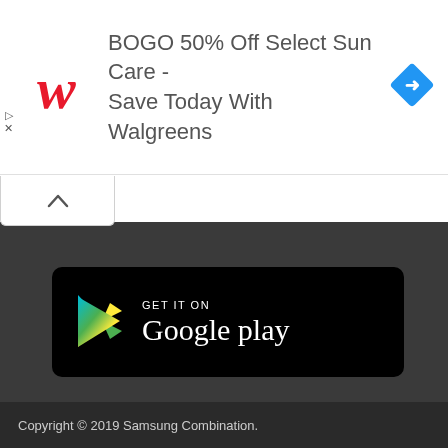[Figure (screenshot): Walgreens advertisement banner: Walgreens cursive W logo in red on left, text 'BOGO 50% Off Select Sun Care - Save Today With Walgreens' in gray, blue diamond navigation icon on right. Small play and close controls on far left.]
[Figure (logo): Google Play Store badge: black rounded rectangle with GET IT ON text, Google Play colored triangle logo, and 'Google play' text in white.]
Copyright © 2019 Samsung Combination.